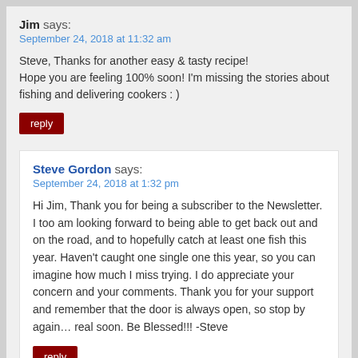Jim says:
September 24, 2018 at 11:32 am
Steve, Thanks for another easy & tasty recipe! Hope you are feeling 100% soon! I'm missing the stories about fishing and delivering cookers : )
reply
Steve Gordon says:
September 24, 2018 at 1:32 pm
Hi Jim, Thank you for being a subscriber to the Newsletter. I too am looking forward to being able to get back out and on the road, and to hopefully catch at least one fish this year. Haven't caught one single one this year, so you can imagine how much I miss trying. I do appreciate your concern and your comments. Thank you for your support and remember that the door is always open, so stop by again… real soon. Be Blessed!!! -Steve
reply